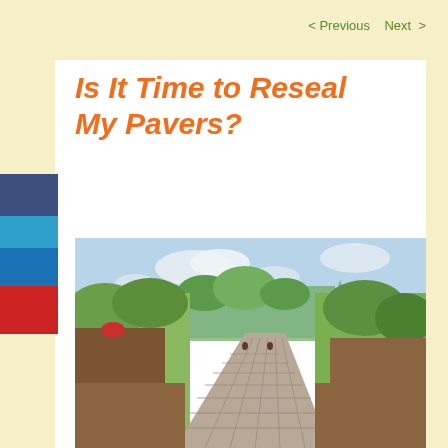< Previous   Next >
Is It Time to Reseal My Pavers?
[Figure (photo): A curving paver driveway surrounded by green trees and shrubs on both sides, leading into the distance under a partly cloudy sky.]